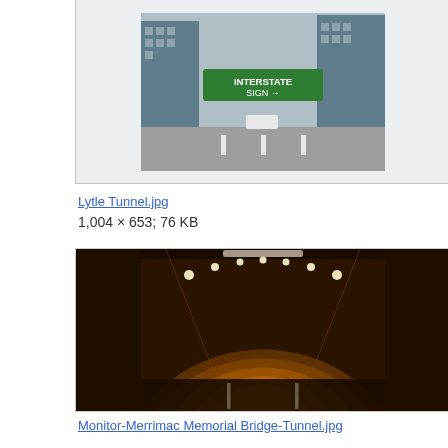[Figure (photo): Thumbnail of Lytle Tunnel.jpg - street scene with buildings and highway signs]
Lytle Tunnel.jpg
1,004 × 653; 76 KB
[Figure (photo): Thumbnail of Monitor-Merrimac Memorial Bridge-Tunnel.jpg - interior of tunnel with orange lighting]
Monitor-Merrimac Memorial Bridge-Tunnel.jpg
2,272 × 1,704; 463 KB
[Figure (photo): Thumbnail of another tunnel-related image showing a brown sign with tunnel icon]